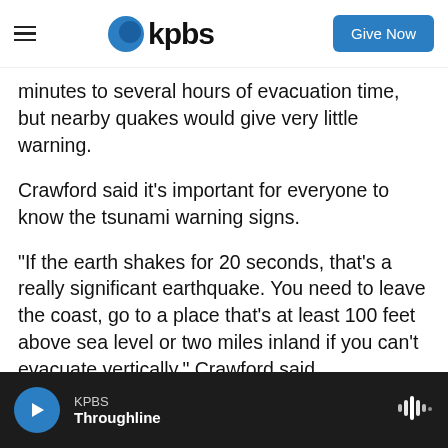KPBS — Give Now
minutes to several hours of evacuation time, but nearby quakes would give very little warning.
Crawford said it's important for everyone to know the tsunami warning signs.
"If the earth shakes for 20 seconds, that's a really significant earthquake. You need to leave the coast, go to a place that's at least 100 feet above sea level or two miles inland if you can't evacuate vertically," Crawford said.
Other signs of a tsunami include a receding shoreline and a large ocean roaring sound.
KPBS — Throughline